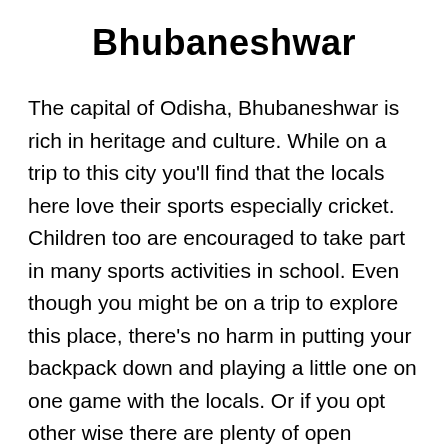Bhubaneshwar
The capital of Odisha, Bhubaneshwar is rich in heritage and culture. While on a trip to this city you'll find that the locals here love their sports especially cricket. Children too are encouraged to take part in many sports activities in school. Even though you might be on a trip to explore this place, there's no harm in putting your backpack down and playing a little one on one game with the locals. Or if you opt other wise there are plenty of open spaces and gardens where you can play with your family. Bhubaneshwar has plenty of sporting shops that have any sporting goods you desire. So if you decide to play a simple game of catch or hold a football match you can find your required necessities at the following places.